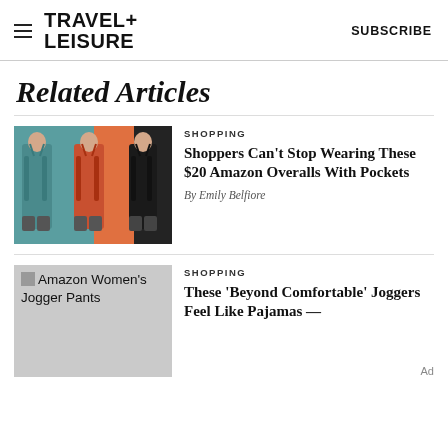TRAVEL+ LEISURE | SUBSCRIBE
Related Articles
SHOPPING
[Figure (photo): Three women modeling overalls/jumpsuits in teal, orange-red, and black colors against a teal background]
Shoppers Can't Stop Wearing These $20 Amazon Overalls With Pockets
By Emily Belfiore
SHOPPING
[Figure (photo): Amazon Women's Jogger Pants product image placeholder]
These 'Beyond Comfortable' Joggers Feel Like Pajamas —